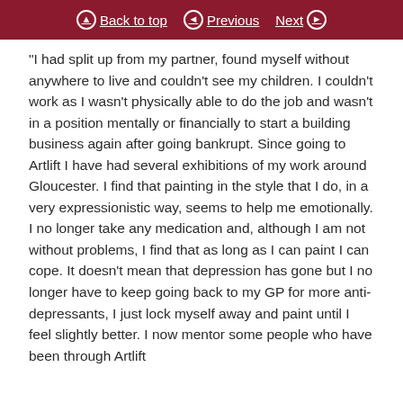Back to top | Previous | Next
“I had split up from my partner, found myself without anywhere to live and couldn’t see my children. I couldn’t work as I wasn’t physically able to do the job and wasn’t in a position mentally or financially to start a building business again after going bankrupt. Since going to Artlift I have had several exhibitions of my work around Gloucester. I find that painting in the style that I do, in a very expressionistic way, seems to help me emotionally. I no longer take any medication and, although I am not without problems, I find that as long as I can paint I can cope. It doesn’t mean that depression has gone but I no longer have to keep going back to my GP for more anti-depressants, I just lock myself away and paint until I feel slightly better. I now mentor some people who have been through Artlift